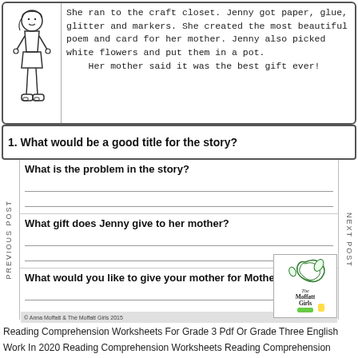[Figure (illustration): Line drawing of a girl character in a dress and shoes]
She ran to the craft closet. Jenny got paper, glue, glitter and markers. She created the most beautiful poem and card for her mother. Jenny also picked white flowers and put them in a pot.
    Her mother said it was the best gift ever!
1. What would be a good title for the story?
What is the problem in the story?
What gift does Jenny give to her mother?
What would you like to give your mother for Mother's Day?
[Figure (logo): The Moffatt Girls logo with decorative swirl design]
© Anna Moffatt & The Moffatt Girls 2015
Reading Comprehension Worksheets For Grade 3 Pdf Or Grade Three English Work In 2020 Reading Comprehension Worksheets Reading Comprehension Practice Reading Worksheets